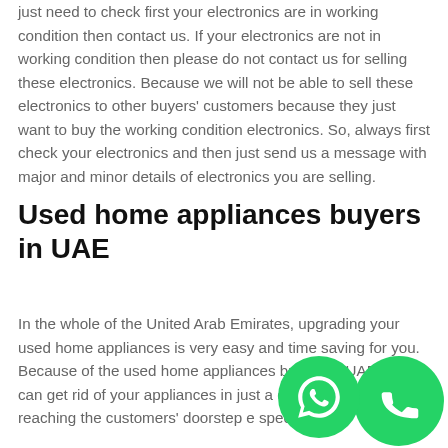just need to check first your electronics are in working condition then contact us. If your electronics are not in working condition then please do not contact us for selling these electronics. Because we will not be able to sell these electronics to other buyers' customers because they just want to buy the working condition electronics. So, always first check your electronics and then just send us a message with major and minor details of electronics you are selling.
Used home appliances buyers in UAE
In the whole of the United Arab Emirates, upgrading your used home appliances is very easy and time saving for you. Because of the used home appliances buyers in UAE and can get rid of your appliances in just a couple a few minutes reaching the customers' doorstep the speci
[Figure (other): Two overlapping green circular buttons: a WhatsApp icon button and a phone/call icon button]